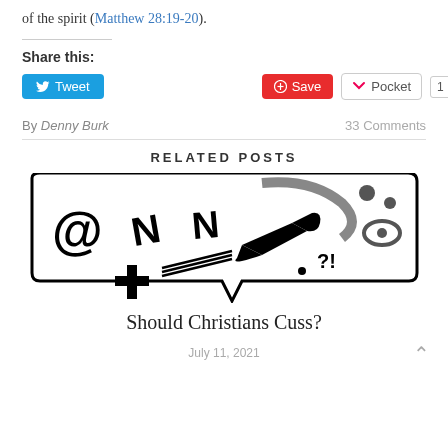of the spirit (Matthew 28:19-20).
Share this:
Tweet | Save | Pocket 1
By Denny Burk   33 Comments
RELATED POSTS
[Figure (illustration): A cartoon speech bubble with symbols representing cursing: @, lightning bolts, cross, arrows, question marks, and dots on black and white line art.]
Should Christians Cuss?
July 11, 2021